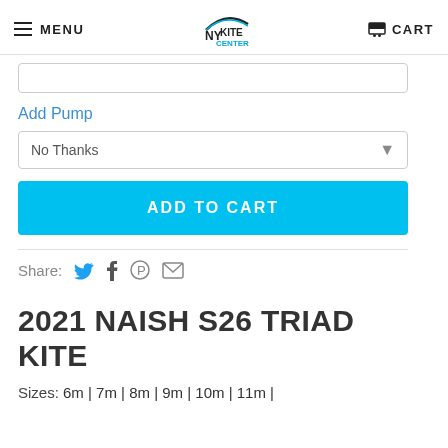MENU | NY KITE CENTER | CART
Add Pump
No Thanks
ADD TO CART
Share:
2021 NAISH S26 TRIAD KITE
Sizes:  6m | 7m | 8m | 9m | 10m | 11m |